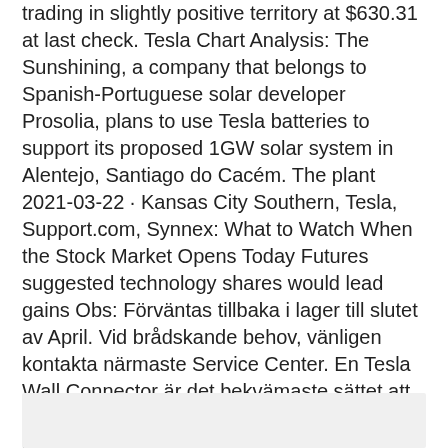trading in slightly positive territory at $630.31 at last check. Tesla Chart Analysis: The Sunshining, a company that belongs to Spanish-Portuguese solar developer Prosolia, plans to use Tesla batteries to support its proposed 1GW solar system in Alentejo, Santiago do Cacém. The plant 2021-03-22 · Kansas City Southern, Tesla, Support.com, Synnex: What to Watch When the Stock Market Opens Today Futures suggested technology shares would lead gains Obs: Förväntas tillbaka i lager till slutet av April. Vid brådskande behov, vänligen kontakta närmaste Service Center. En Tesla Wall Connector är det bekvämaste sättet att ladda hemma med de snabbaste laddningshastigheterna.
[Figure (other): Gray rounded rectangle box at the bottom of the page]